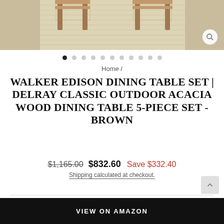[Figure (photo): Outdoor dining table set with acacia wood chairs on a textured rug, cropped product photo]
Home /
WALKER EDISON DINING TABLE SET | DELRAY CLASSIC OUTDOOR ACACIA WOOD DINING TABLE 5-PIECE SET - BROWN
$1,165.00  $832.60  Save $332.40
Shipping calculated at checkout.
VIEW ON AMAZON